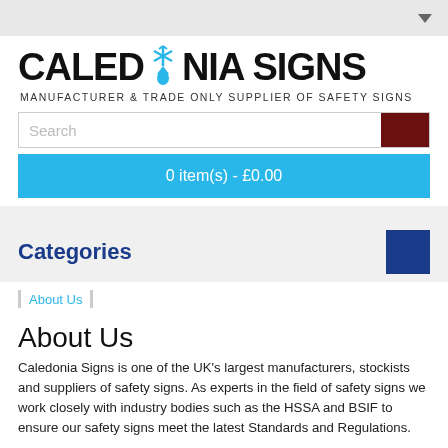[Figure (logo): Caledonia Signs logo with snowflake/drop icon and text 'CALEDONIA SIGNS' with tagline 'MANUFACTURER & TRADE ONLY SUPPLIER OF SAFETY SIGNS']
Search
0 item(s) - £0.00
Categories
About Us
About Us
Caledonia Signs is one of the UK's largest manufacturers, stockists and suppliers of safety signs. As experts in the field of safety signs we work closely with industry bodies such as the HSSA and BSIF to ensure our safety signs meet the latest Standards and Regulations.